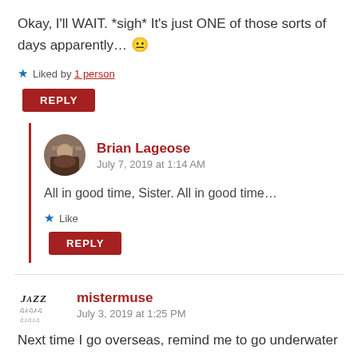Okay, I'll WAIT. *sigh* It's just ONE of those sorts of days apparently… 😐
★ Liked by 1 person
REPLY
Brian Lageose
July 7, 2019 at 1:14 AM
All in good time, Sister. All in good time…
★ Like
REPLY
mistermuse
July 3, 2019 at 1:25 PM
Next time I go overseas, remind me to go underwater